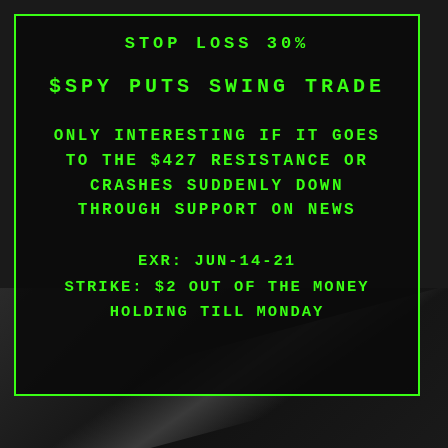STOP LOSS 30%
$SPY PUTS SWING TRADE
ONLY INTERESTING IF IT GOES TO THE $427 RESISTANCE OR CRASHES SUDDENLY DOWN THROUGH SUPPORT ON NEWS
EXR: JUN-14-21
STRIKE: $2 OUT OF THE MONEY
HOLDING TILL MONDAY